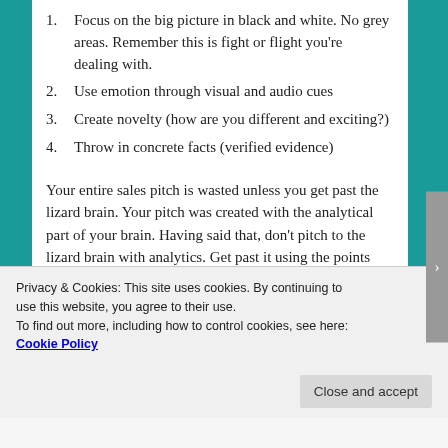1. Focus on the big picture in black and white. No grey areas. Remember this is fight or flight you're dealing with.
2. Use emotion through visual and audio cues
3. Create novelty (how are you different and exciting?)
4. Throw in concrete facts (verified evidence)
Your entire sales pitch is wasted unless you get past the lizard brain. Your pitch was created with the analytical part of your brain. Having said that, don't pitch to the lizard brain with analytics. Get past it using the points above. Once through the lizard brain you can dive into the details.
Privacy & Cookies: This site uses cookies. By continuing to use this website, you agree to their use.
To find out more, including how to control cookies, see here: Cookie Policy
Close and accept